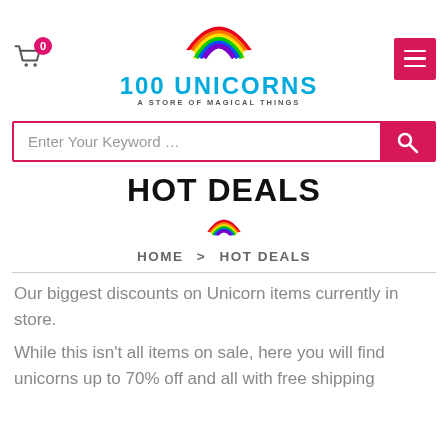[Figure (logo): 100 Unicorns logo with rainbow arc above text '100 UNICORNS' and subtitle 'A STORE OF MAGICAL THINGS']
HOT DEALS
[Figure (illustration): Small rainbow icon]
HOME > HOT DEALS
Our biggest discounts on Unicorn items currently in store.
While this isn't all items on sale, here you will find unicorns up to 70% off and all with free shipping